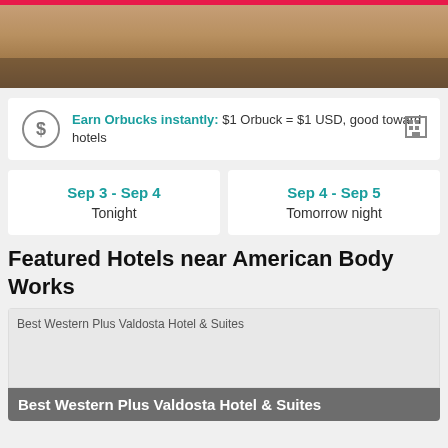[Figure (photo): Hotel room interior photo with pink header bar at top]
Earn Orbucks instantly: $1 Orbuck = $1 USD, good toward hotels
Sep 3 - Sep 4
Tonight
Sep 4 - Sep 5
Tomorrow night
Featured Hotels near American Body Works
[Figure (photo): Best Western Plus Valdosta Hotel & Suites hotel image placeholder]
Best Western Plus Valdosta Hotel & Suites